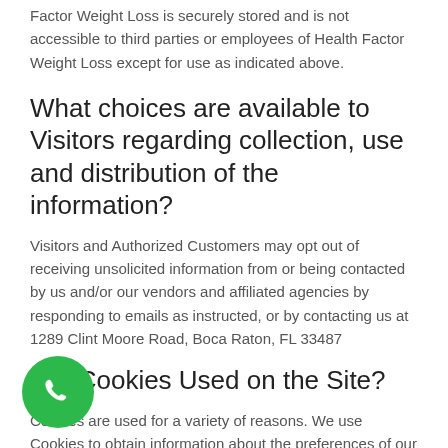Factor Weight Loss is securely stored and is not accessible to third parties or employees of Health Factor Weight Loss except for use as indicated above.
What choices are available to Visitors regarding collection, use and distribution of the information?
Visitors and Authorized Customers may opt out of receiving unsolicited information from or being contacted by us and/or our vendors and affiliated agencies by responding to emails as instructed, or by contacting us at 1289 Clint Moore Road, Boca Raton, FL 33487
Are Cookies Used on the Site?
Cookies are used for a variety of reasons. We use Cookies to obtain information about the preferences of our Visitors and the services they select. We also use Cookies for security purposes to protect our Authorized Customers. For example, if an Authorized Customer is logged on and the site is unused for more than 10 minutes, we will automatically